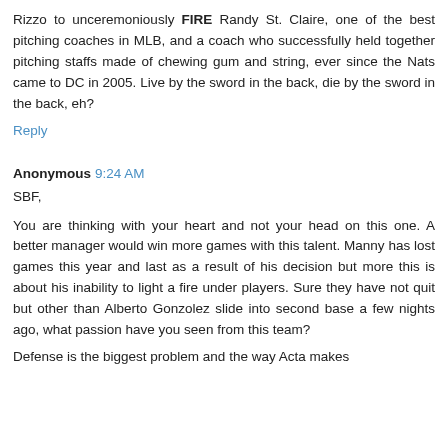Rizzo to unceremoniously FIRE Randy St. Claire, one of the best pitching coaches in MLB, and a coach who successfully held together pitching staffs made of chewing gum and string, ever since the Nats came to DC in 2005. Live by the sword in the back, die by the sword in the back, eh?
Reply
Anonymous 9:24 AM
SBF,
You are thinking with your heart and not your head on this one. A better manager would win more games with this talent. Manny has lost games this year and last as a result of his decision but more this is about his inability to light a fire under players. Sure they have not quit but other than Alberto Gonzolez slide into second base a few nights ago, what passion have you seen from this team?
Defense is the biggest problem and the way Acta makes